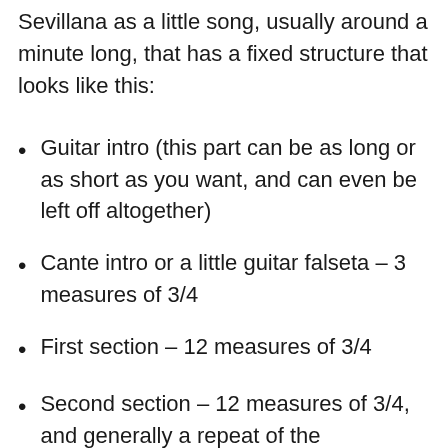Sevillana as a little song, usually around a minute long, that has a fixed structure that looks like this:
Guitar intro (this part can be as long or as short as you want, and can even be left off altogether)
Cante intro or a little guitar falseta – 3 measures of 3/4
First section – 12 measures of 3/4
Second section – 12 measures of 3/4, and generally a repeat of the